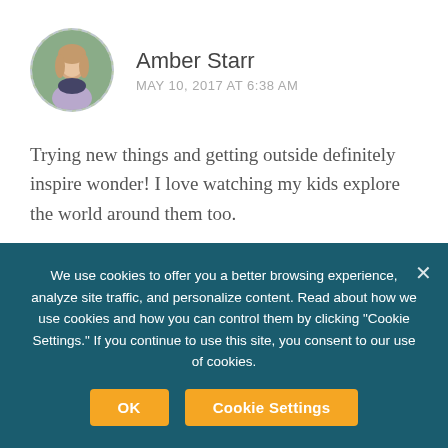[Figure (photo): Circular avatar photo of Amber Starr with dashed border, showing a woman with long hair outdoors]
Amber Starr
MAY 10, 2017 AT 6:38 AM
Trying new things and getting outside definitely inspire wonder! I love watching my kids explore the world around them too.
Loading...
Reply
Pingback: The Wonder of Fairy Bread – The Nostalgia
We use cookies to offer you a better browsing experience, analyze site traffic, and personalize content. Read about how we use cookies and how you can control them by clicking "Cookie Settings." If you continue to use this site, you consent to our use of cookies.
OK
Cookie Settings